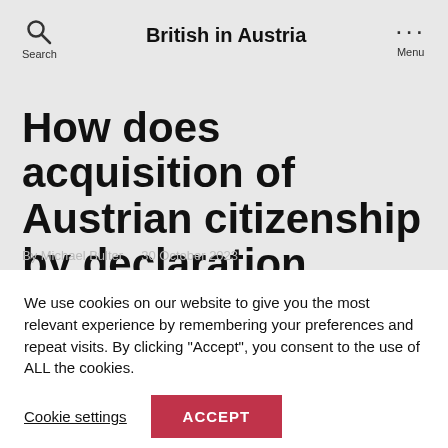British in Austria
How does acquisition of Austrian citizenship by declaration work?
By Michael Bulter  30 October 2023
We use cookies on our website to give you the most relevant experience by remembering your preferences and repeat visits. By clicking "Accept", you consent to the use of ALL the cookies.
Cookie settings   ACCEPT